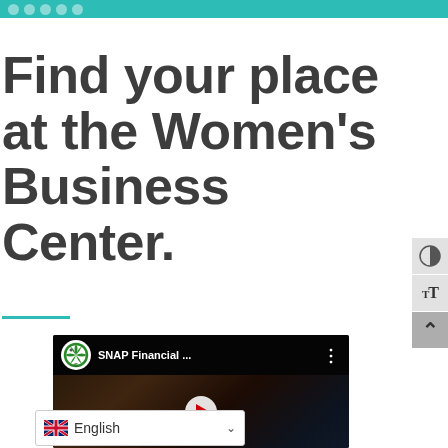Find your place at the Women's Business Center.
[Figure (screenshot): Screenshot of a YouTube video thumbnail showing SNAP Financial... channel with dark background and play button]
English